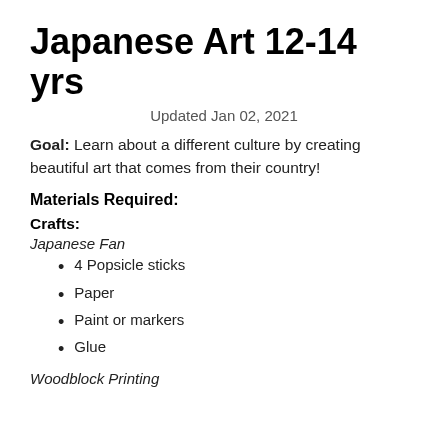Japanese Art 12-14 yrs
Updated Jan 02, 2021
Goal: Learn about a different culture by creating beautiful art that comes from their country!
Materials Required:
Crafts:
Japanese Fan
4 Popsicle sticks
Paper
Paint or markers
Glue
Woodblock Printing